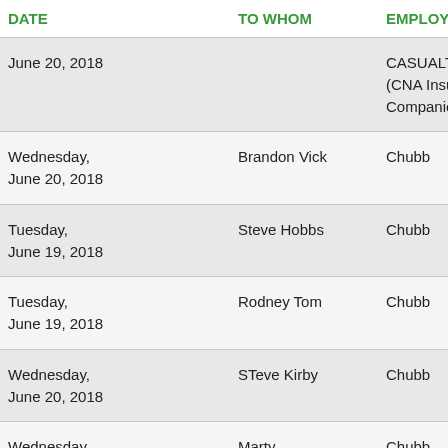| DATE | TO WHOM | EMPLOYER | AMOUNT |
| --- | --- | --- | --- |
| June 20, 2018 |  | CASUALTY COMPANY (CNA Insurance Companies) |  |
| Wednesday, June 20, 2018 | Brandon Vick | Chubb | 1000 |
| Tuesday, June 19, 2018 | Steve Hobbs | Chubb | 1000 |
| Tuesday, June 19, 2018 | Rodney Tom | Chubb | 1000 |
| Wednesday, June 20, 2018 | STeve Kirby | Chubb | 1000 |
| Wednesday, June 20, 2018 | Marty McClendon | Chubb | 1000 |
| Thursday, | Marty | CANO & ASSOC* | 150 |